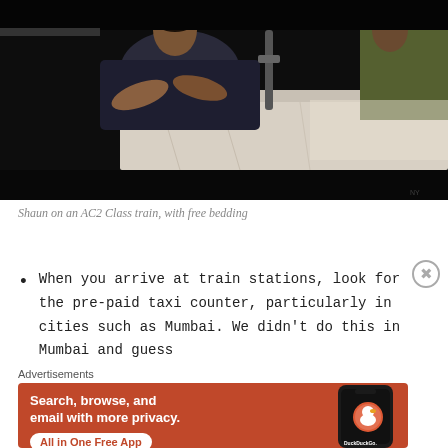[Figure (photo): Person (Shaun) lying on a bunk in an AC2 Class train compartment with white bedding/sheets visible. Dark interior train setting. Another person partially visible.]
Shaun on an AC2 Class train, with free bedding
When you arrive at train stations, look for the pre-paid taxi counter, particularly in cities such as Mumbai. We didn't do this in Mumbai and guess
Advertisements
[Figure (screenshot): DuckDuckGo advertisement banner. Orange background with text: 'Search, browse, and email with more privacy. All in One Free App' with DuckDuckGo logo and a phone image.]